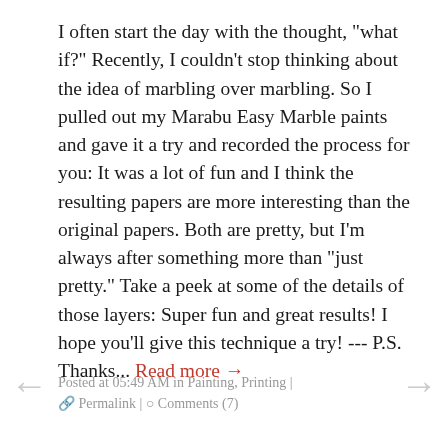I often start the day with the thought, "what if?" Recently, I couldn't stop thinking about the idea of marbling over marbling. So I pulled out my Marabu Easy Marble paints and gave it a try and recorded the process for you: It was a lot of fun and I think the resulting papers are more interesting than the original papers. Both are pretty, but I'm always after something more than "just pretty." Take a peek at some of the details of those layers: Super fun and great results! I hope you'll give this technique a try! --- P.S. Thanks... Read more →
Posted at 05:49 AM in Painting, Printing | ⊃ Permalink | ○ Comments (7)